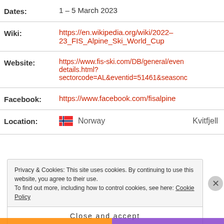| Field | Value |
| --- | --- |
| Dates: | 1 – 5 March 2023 |
| Wiki: | https://en.wikipedia.org/wiki/2022–23_FIS_Alpine_Ski_World_Cup |
| Website: | https://www.fis-ski.com/DB/general/event-details.html?sectorcode=AL&eventid=51461&seasoncode=… |
| Facebook: | https://www.facebook.com/fisalpine |
| Location: | Norway  Kvitfjell |
Privacy & Cookies: This site uses cookies. By continuing to use this website, you agree to their use. To find out more, including how to control cookies, see here: Cookie Policy
Close and accept